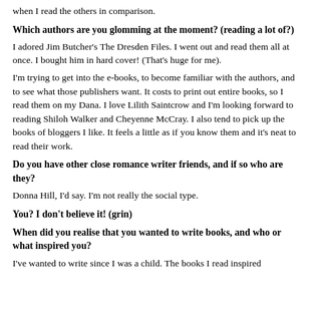when I read the others in comparison.
Which authors are you glomming at the moment? (reading a lot of?)
I adored Jim Butcher's The Dresden Files. I went out and read them all at once. I bought him in hard cover! (That's huge for me).
I'm trying to get into the e-books, to become familiar with the authors, and to see what those publishers want. It costs to print out entire books, so I read them on my Dana. I love Lilith Saintcrow and I'm looking forward to reading Shiloh Walker and Cheyenne McCray. I also tend to pick up the books of bloggers I like. It feels a little as if you know them and it's neat to read their work.
Do you have other close romance writer friends, and if so who are they?
Donna Hill, I'd say. I'm not really the social type.
You? I don't believe it! (grin)
When did you realise that you wanted to write books, and who or what inspired you?
I've wanted to write since I was a child. The books I read inspired